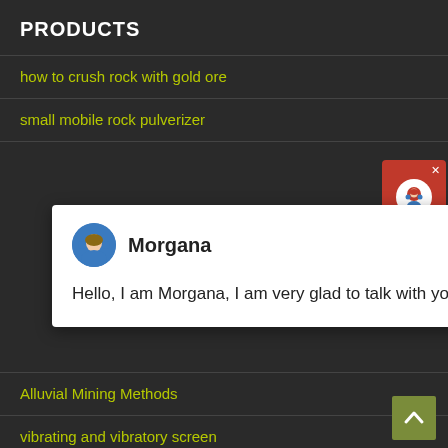PRODUCTS
how to crush rock with gold ore
small mobile rock pulverizer
[Figure (screenshot): Chat popup with avatar of Morgana and message: Hello, I am Morgana, I am very glad to talk with you!]
Alluvial Mining Methods
vibrating and vibratory screen
torque speed curve of crusherfor mining